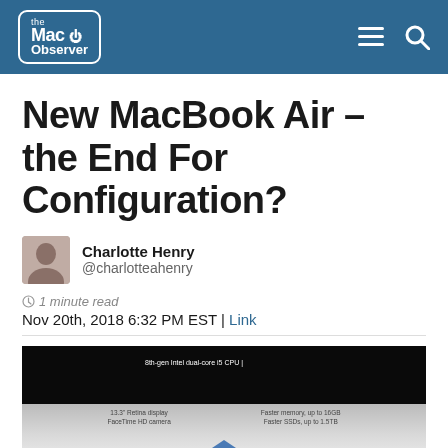the Mac Observer
New MacBook Air – the End For Configuration?
Charlotte Henry @charlotteahenry
1 minute read
Nov 20th, 2018 6:32 PM EST | Link
[Figure (screenshot): MacBook Air promotional image showing specs: 8th-gen Intel dual-core i5 CPU, Faster memory up to 16GB, Faster SSDs up to 1.5TB, 13.3-inch Retina display, FaceTime HD camera]